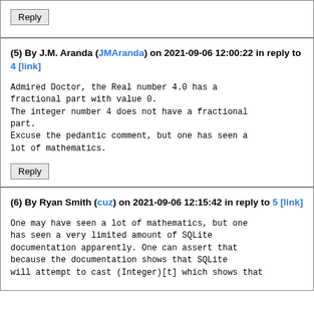Reply
(5) By J.M. Aranda (JMAranda) on 2021-09-06 12:00:22 in reply to 4 [link]
Admired Doctor, the Real number 4.0 has a fractional part with value 0.
The integer number 4 does not have a fractional part.
Excuse the pedantic comment, but one has seen a lot of mathematics.
Reply
(6) By Ryan Smith (cuz) on 2021-09-06 12:15:42 in reply to 5 [link]
One may have seen a lot of mathematics, but one has seen a very limited amount of SQLite documentation apparently. One can assert that because the documentation shows that SQLite will attempt to cast (Integer)[t] which shows that